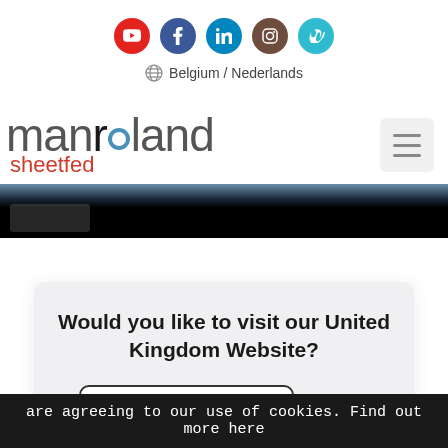[Figure (illustration): Social media icons row: YouTube (red), Facebook (blue), LinkedIn (blue), Instagram (brown), Vimeo (teal)]
Belgium / Nederlands
[Figure (logo): manroland sheetfed logo with hamburger menu icon]
[Figure (photo): Dark banner background with partial white image thumbnail]
Would you like to visit our United Kingdom Website?
[Figure (illustration): UK flag icon next to Visit Website button and Ignore text link]
are agreeing to our use of cookies. Find out more here